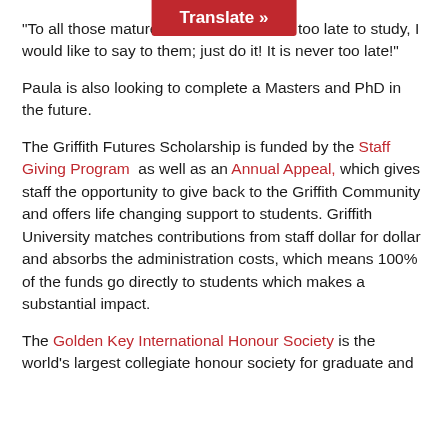"To all those mature [Translate »] that it is too late to study, I would like to say to them; just do it! It is never too late!"
Paula is also looking to complete a Masters and PhD in the future.
The Griffith Futures Scholarship is funded by the Staff Giving Program as well as an Annual Appeal, which gives staff the opportunity to give back to the Griffith Community and offers life changing support to students. Griffith University matches contributions from staff dollar for dollar and absorbs the administration costs, which means 100% of the funds go directly to students which makes a substantial impact.
The Golden Key International Honour Society is the world's largest collegiate honour society for graduate and undergraduate students who have demonstrated academic excellence.